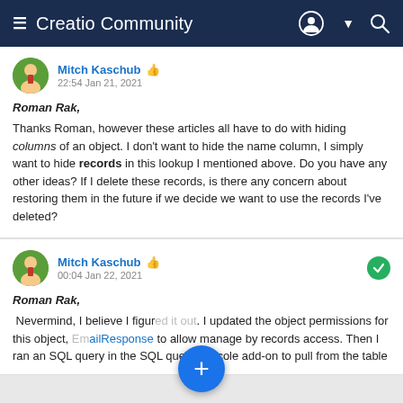≡ Creatio Community
Mitch Kaschub  👍
22:54 Jan 21, 2021
Roman Rak,
Thanks Roman, however these articles all have to do with hiding columns of an object. I don't want to hide the name column, I simply want to hide records in this lookup I mentioned above. Do you have any other ideas? If I delete these records, is there any concern about restoring them in the future if we decide we want to use the records I've deleted?
Mitch Kaschub  👍
00:04 Jan 22, 2021
Roman Rak,
Nevermind, I believe I figur[ed it out]. I updated the object permissions for this object, [Em]ailResponse to allow manage by records access. Then I ran an SQL query in the SQL query concole add-on to pull from the table